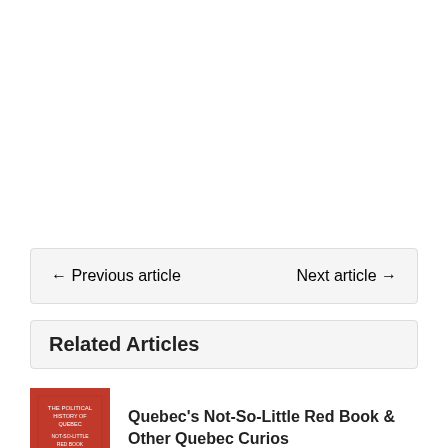← Previous article    Next article →
Related Articles
[Figure (photo): Red book cover thumbnail for Quebec's Not-So-Little Red Book & Other Quebec Curios]
Quebec's Not-So-Little Red Book & Other Quebec Curios